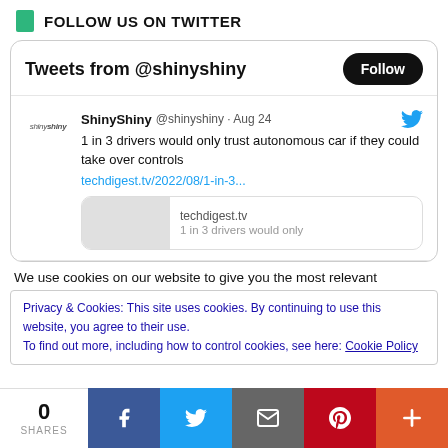FOLLOW US ON TWITTER
Tweets from @shinyshiny
ShinyShiny @shinyshiny · Aug 24
1 in 3 drivers would only trust autonomous car if they could take over controls
techdigest.tv/2022/08/1-in-3...
techdigest.tv
1 in 3 drivers would only
We use cookies on our website to give you the most relevant
Privacy & Cookies: This site uses cookies. By continuing to use this website, you agree to their use.
To find out more, including how to control cookies, see here: Cookie Policy
0
SHARES